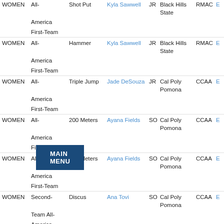| Gender | Award | Event | Name | Yr | School | Conf |  |
| --- | --- | --- | --- | --- | --- | --- | --- |
| WOMEN | All-America First-Team | Shot Put | Kyla Sawwell | JR | Black Hills State | RMAC | E |
| WOMEN | All-America First-Team | Hammer | Kyla Sawwell | JR | Black Hills State | RMAC | E |
| WOMEN | All-America First-Team | Triple Jump | Jade DeSouza | JR | Cal Poly Pomona | CCAA | E |
| WOMEN | All-America First-Team | 200 Meters | Ayana Fields | SO | Cal Poly Pomona | CCAA | E |
| WOMEN | All-America First-Team | 400 Meters | Ayana Fields | SO | Cal Poly Pomona | CCAA | E |
| WOMEN | Second-Team All-America | Discus | Ana Tovi | SO | Cal Poly Pomona | CCAA | E |
| WOMEN | Second-Team All-America | 100 Meters | Divonne Franklin | JR | California (Pa.) | PSAC | E |
| WOMEN | All-America First-Team | High Jump | Beyonc'e Kelly | SO | California (Pa.) | PSAC | E |
| WOMEN | All-America First-Team | Steeplechase | Rachel Sweeney | SR | Cedarville | G-MAC | E |